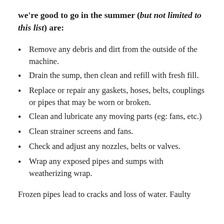we're good to go in the summer (but not limited to this list) are:
Remove any debris and dirt from the outside of the machine.
Drain the sump, then clean and refill with fresh fill.
Replace or repair any gaskets, hoses, belts, couplings or pipes that may be worn or broken.
Clean and lubricate any moving parts (eg: fans, etc.)
Clean strainer screens and fans.
Check and adjust any nozzles, belts or valves.
Wrap any exposed pipes and sumps with weatherizing wrap.
Frozen pipes lead to cracks and loss of water. Faulty